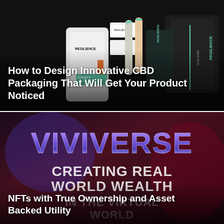[Figure (photo): Photo of multiple CBD/Resilience branded product packages—white pouches, boxes, and black bags with teal accents—arranged on a dark background. White overlay text reads: 'How to Design Innovative CBD Packaging That Will Get Your Product Noticed']
How to Design Innovative CBD Packaging That Will Get Your Product Noticed
[Figure (photo): Dark red/purple background with large stylized 'VIVIVERSE' logo text (purple/blue gradient with chrome effect) and bold white text 'CREATING REAL WORLD WEALTH' and partially visible 'IN THE VIRTUAL WORLD'. Smaller overlay text reads: 'NFTs with True Ownership and Asset Backed Utility']
NFTs with True Ownership and Asset Backed Utility